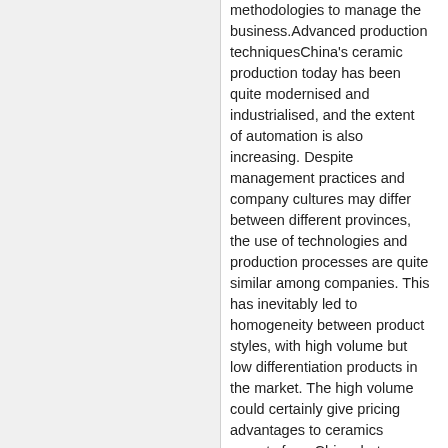methodologies to manage the business.Advanced production techniquesChina's ceramic production today has been quite modernised and industrialised, and the extent of automation is also increasing. Despite management practices and company cultures may differ between different provinces, the use of technologies and production processes are quite similar among companies. This has inevitably led to homogeneity between product styles, with high volume but low differentiation products in the market. The high volume could certainly give pricing advantages to ceramics exports from China, but they've also attracted a considerable level of anti-dumping criticism from other countries. Many Chinese ceramics are sold as OEM products for foreign brands with no origin labels. Otherwise, many Chinese consumers would probably find that their imported